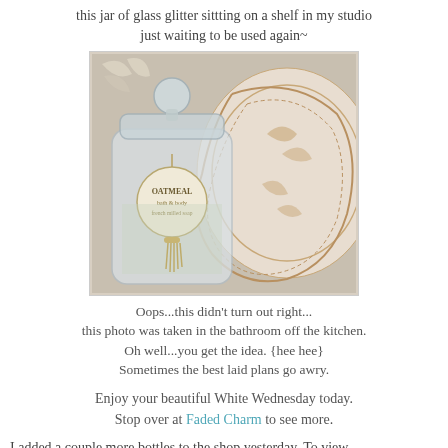this jar of glass glitter sittting on a shelf in my studio just waiting to be used again~
[Figure (photo): A glass jar with a round knob lid and an 'Oatmeal' label tag with a gold tassel, sitting in front of a decorative white plate with ornate relief details.]
Oops...this didn't turn out right... this photo was taken in the bathroom off the kitchen. Oh well...you get the idea. {hee hee} Sometimes the best laid plans go awry.
Enjoy your beautiful White Wednesday today. Stop over at Faded Charm to see more.
I added a couple more bottles to the shop yesterday. To view them just click on the photo on my sidebar. I have also been